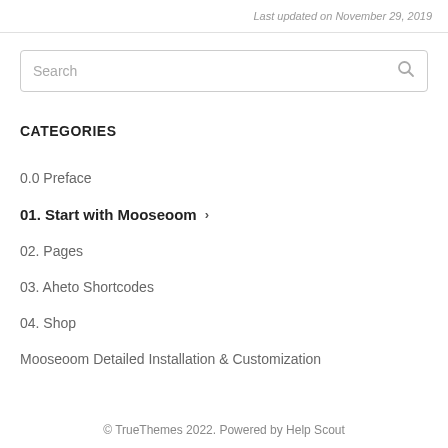Last updated on November 29, 2019
Search
CATEGORIES
0.0 Preface
01. Start with Mooseoom ›
02. Pages
03. Aheto Shortcodes
04. Shop
Mooseoom Detailed Installation & Customization
© TrueThemes 2022. Powered by Help Scout